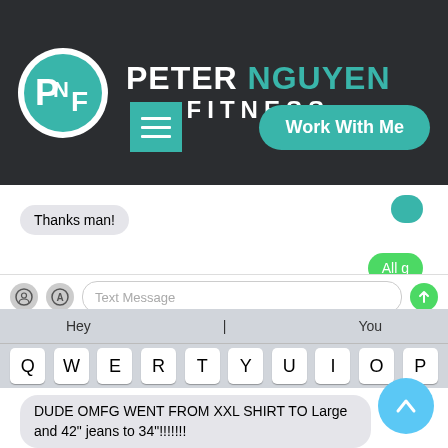[Figure (logo): Peter Nguyen Fitness logo — circular teal PNF monogram on dark background with brand name]
[Figure (screenshot): Mobile phone SMS conversation screenshot showing messages: 'Thanks man!', 'All g', 'Today 11:44 am', 'Bruh', 'Nuts bought pants and a shirt.....', 'DUDE OMFG WENT FROM XXL SHIRT TO Large and 42" jeans to 34"!!!!!!!' with iOS keyboard visible]
Thanks man!
All g
Today 11:44 am
Bruh
Nuts bought pants and a shirt.....
DUDE OMFG WENT FROM XXL SHIRT TO Large and 42" jeans to 34"!!!!!!!